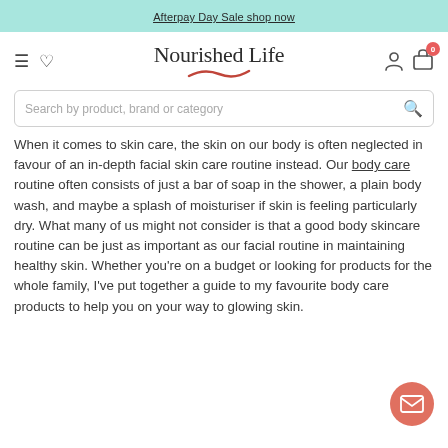Afterpay Day Sale shop now
[Figure (logo): Nourished Life logo with navigation icons: hamburger menu, heart/wishlist, user account icon, and shopping cart with badge showing 0]
Search by product, brand or category
When it comes to skin care, the skin on our body is often neglected in favour of an in-depth facial skin care routine instead. Our body care routine often consists of just a bar of soap in the shower, a plain body wash, and maybe a splash of moisturiser if skin is feeling particularly dry. What many of us might not consider is that a good body skincare routine can be just as important as our facial routine in maintaining healthy skin. Whether you're on a budget or looking for products for the whole family, I've put together a guide to my favourite body care products to help you on your way to glowing skin.